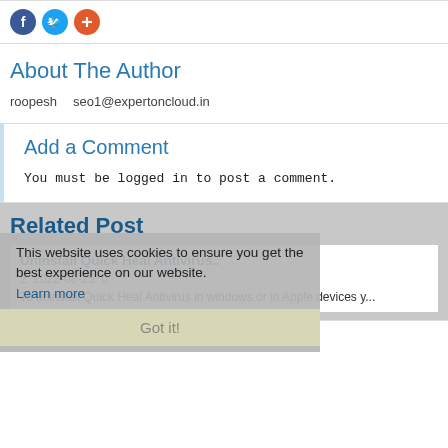[Figure (other): Social media share icons: Facebook (blue circle), Twitter (light blue circle), and a plus/share button (orange circle)]
About The Author
roopesh   seo1@expertoncloud.in
Add a Comment
You must be logged in to post a comment.
Related Post
This website uses cookies to ensure you get the best experience on our website.
Learn more
Got it!
Uninstall Quick Heal Antivirus..
2  2022-08-25  0
To uninstall Quick Heal Antivirus in windows or in Apple devices y...
aka.ms/yourpc